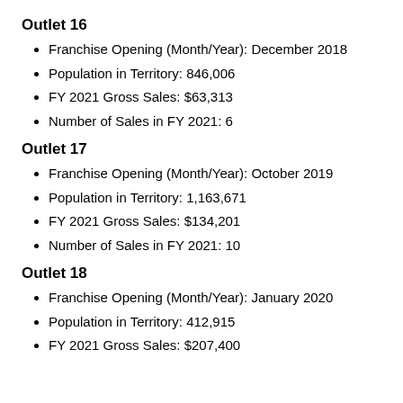Outlet 16
Franchise Opening (Month/Year):  December 2018
Population in Territory:  846,006
FY 2021 Gross Sales:  $63,313
Number of Sales in FY 2021:  6
Outlet 17
Franchise Opening (Month/Year):  October 2019
Population in Territory:  1,163,671
FY 2021 Gross Sales:  $134,201
Number of Sales in FY 2021:  10
Outlet 18
Franchise Opening (Month/Year):  January 2020
Population in Territory:  412,915
FY 2021 Gross Sales:  $207,400